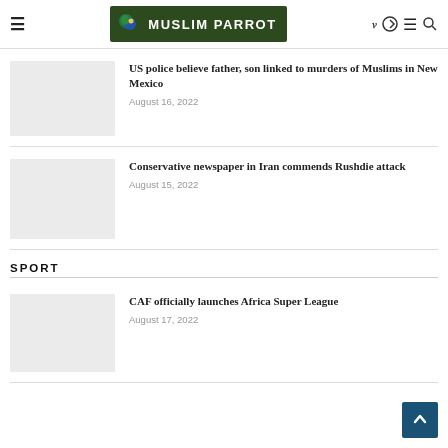Muslim Parrot
US police believe father, son linked to murders of Muslims in New Mexico
August 16, 2022
Conservative newspaper in Iran commends Rushdie attack
August 15, 2022
SPORT
CAF officially launches Africa Super League
August 17, 2022